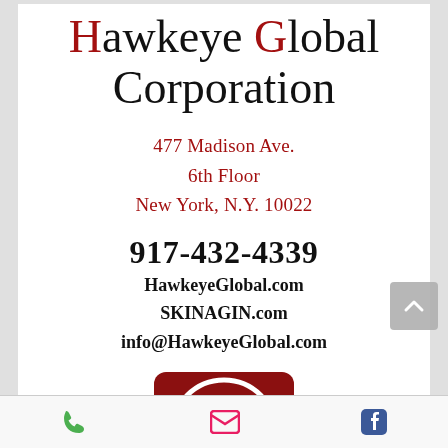Hawkeye Global Corporation
477 Madison Ave.
6th Floor
New York, N.Y. 10022
917-432-4339
HawkeyeGlobal.com
SKINAGIN.com
info@HawkeyeGlobal.com
[Figure (logo): Hawkeye Global Corporation logo: red circular background with a white hawk/arrow symbol in a circle]
Phone | Email | Facebook